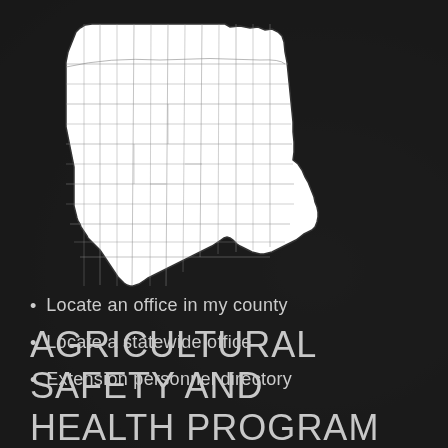[Figure (map): White outline map of Ohio state showing county boundaries on dark background]
Locate an office in my county
Locate a statewide office
Extension personnel directory
AGRICULTURAL SAFETY AND HEALTH PROGRAM